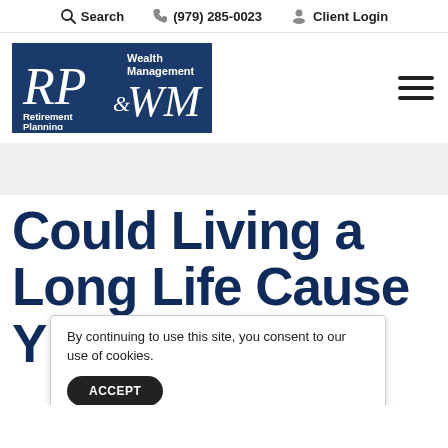Search   (979) 285-0023   Client Login
[Figure (logo): RP & WM Retirement Planning & Wealth Management logo — white italic script on dark navy blue background with border]
Could Living a Long Life Cause
By continuing to use this site, you consent to our use of cookies.